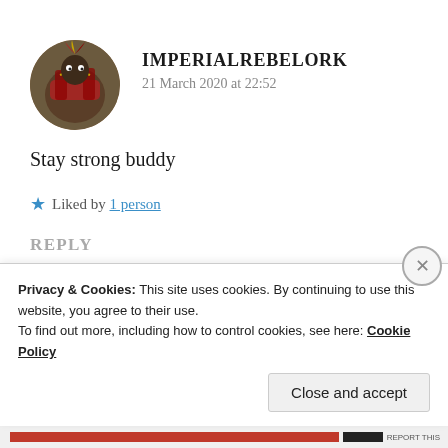IMPERIALREBELORK
21 March 2020 at 22:52
Stay strong buddy
★ Liked by 1 person
REPLY
Privacy & Cookies: This site uses cookies. By continuing to use this website, you agree to their use.
To find out more, including how to control cookies, see here: Cookie Policy
Close and accept